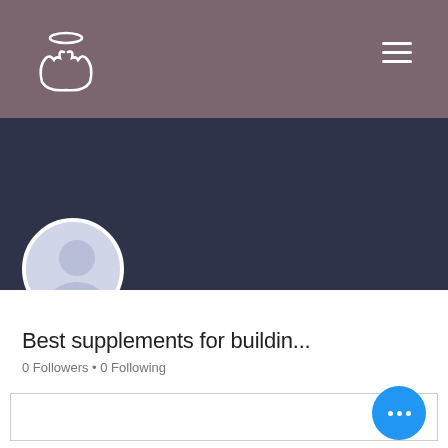[Figure (screenshot): App header bar with logo icon (hands holding a halo) on the left and hamburger menu icon on the right, set against a mauve/purple background]
[Figure (screenshot): Dark navy profile banner with Follow button and vertical three-dot menu on the right, and a circular avatar placeholder on the left]
Best supplements for buildin...
0 Followers • 0 Following
[Figure (screenshot): Dropdown/filter box with a chevron icon on the right]
Profile
Join date: Jun 19, 2022